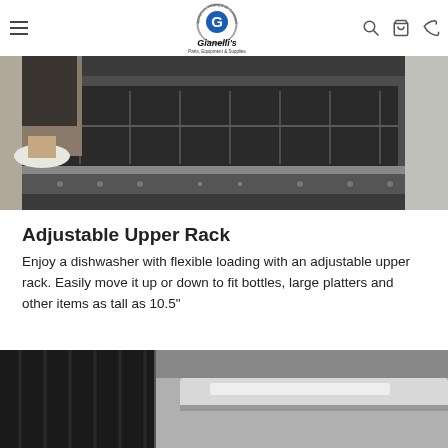Gianelli's Parts, Equipment & Supplies — navigation bar
[Figure (photo): A person standing next to an open dishwasher, viewed from above, showing the interior rack and controls.]
Adjustable Upper Rack
Enjoy a dishwasher with flexible loading with an adjustable upper rack. Easily move it up or down to fit bottles, large platters and other items as tall as 10.5"
[Figure (photo): Close-up interior shot of a dishwasher showing dark racks and stainless steel handle/door interior.]